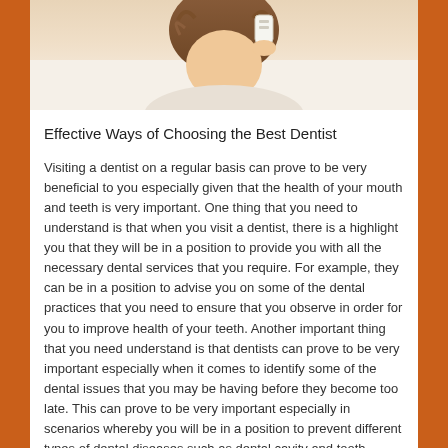[Figure (photo): Photo of a person at a dentist office, partially cropped showing upper portion of the scene]
Effective Ways of Choosing the Best Dentist
Visiting a dentist on a regular basis can prove to be very beneficial to you especially given that the health of your mouth and teeth is very important. One thing that you need to understand is that when you visit a dentist, there is a highlight you that they will be in a position to provide you with all the necessary dental services that you require. For example, they can be in a position to advise you on some of the dental practices that you need to ensure that you observe in order for you to improve health of your teeth. Another important thing that you need understand is that dentists can prove to be very important especially when it comes to identify some of the dental issues that you may be having before they become too late. This can prove to be very important especially in scenarios whereby you will be in a position to prevent different types of dental diseases such as dental cavity and tooth decay.
Having a family dentist is always known to be very important investments because you can be sure that